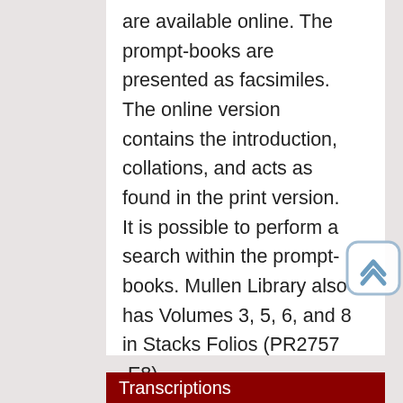are available online. The prompt-books are presented as facsimiles. The online version contains the introduction, collations, and acts as found in the print version. It is possible to perform a search within the prompt-books. Mullen Library also has Volumes 3, 5, 6, and 8 in Stacks Folios (PR2757 .E8).
more...
Transcriptions